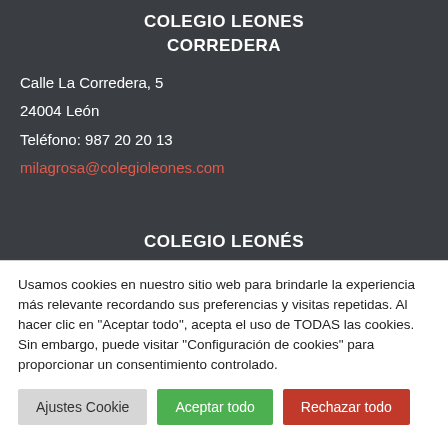COLEGIO LEONES CORREDERA
Calle La Corredera, 5
24004 León
Teléfono: 987 20 20 13
milagrosa@colegioleones.com
COLEGIO LEONÉS
Usamos cookies en nuestro sitio web para brindarle la experiencia más relevante recordando sus preferencias y visitas repetidas. Al hacer clic en "Aceptar todo", acepta el uso de TODAS las cookies. Sin embargo, puede visitar "Configuración de cookies" para proporcionar un consentimiento controlado.
Ajustes Cookie | Aceptar todo | Rechazar todo